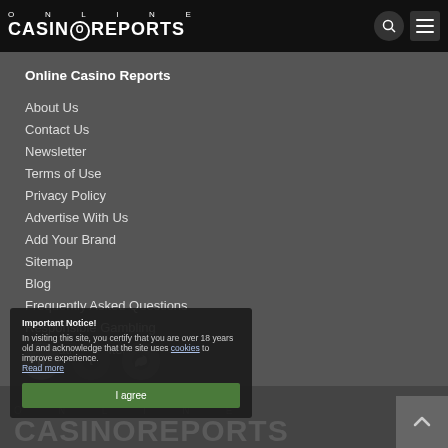ONLINE CASINOREPORTS
Online Casino Reports
About Us
Contact Us
Newsletter
Terms of Use
Privacy Policy
Advertise With Us
Add Your Brand
Sitemap
Blog
Frequently Asked Questions
Responsible Gambling
International Sites
[Figure (screenshot): Social media icons: Pinterest, Twitter, RSS feed]
Important Notice! In visiting this site, you certify that you are over 18 years old and acknowledge that the site uses cookies to improve experience. Read more
[Figure (screenshot): I agree button (green) and bottom logo area with ONLINE CASINOREPORTS text]